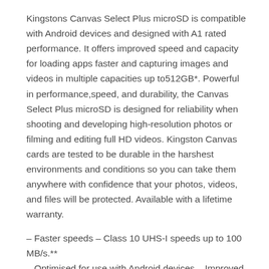Kingstons Canvas Select Plus microSD is compatible with Android devices and designed with A1 rated performance. It offers improved speed and capacity for loading apps faster and capturing images and videos in multiple capacities up to512GB*. Powerful in performance,speed, and durability, the Canvas Select Plus microSD is designed for reliability when shooting and developing high-resolution photos or filming and editing full HD videos. Kingston Canvas cards are tested to be durable in the harshest environments and conditions so you can take them anywhere with confidence that your photos, videos, and files will be protected. Available with a lifetime warranty.
– Faster speeds – Class 10 UHS-I speeds up to 100 MB/s.**
– Optimised for use with Android devices – Improved performance when used with an Android smartphone or tablet.
– Multiple capacities – Up to 512 GB* to store all your